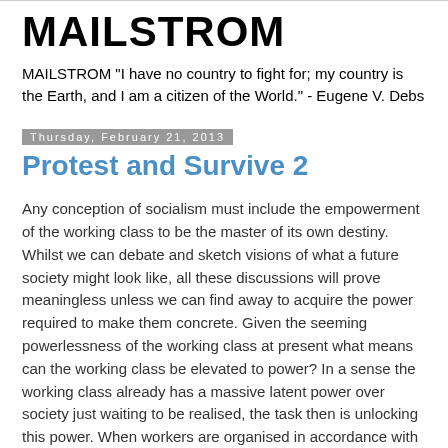MAILSTROM
MAILSTROM "I have no country to fight for; my country is the Earth, and I am a citizen of the World." - Eugene V. Debs
Thursday, February 21, 2013
Protest and Survive 2
Any conception of socialism must include the empowerment of the working class to be the master of its own destiny. Whilst we can debate and sketch visions of what a future society might look like, all these discussions will prove meaningless unless we can find away to acquire the power required to make them concrete.  Given the seeming powerlessness of the working class at present what means can the working class be elevated to power?  In a sense the working class already has a massive latent power over society just waiting to be realised, the task then is unlocking this power. When workers are organised in accordance with